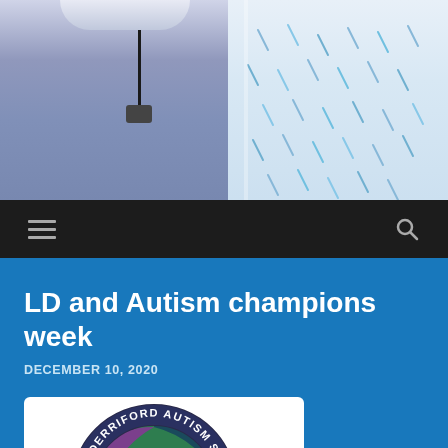[Figure (photo): Two NHS nurses/healthcare workers in uniform — one in purple scrubs with a lanyard, one in a patterned gown — photographed from torso-level]
[Figure (infographic): Navigation bar with hamburger menu icon on left and search (magnifying glass) icon on right, dark background]
LD and Autism champions week
DECEMBER 10, 2020
[Figure (logo): Derriford Autism Service circular logo featuring colourful hands in a circle with an infinity symbol in the centre, on a dark navy/teal background]